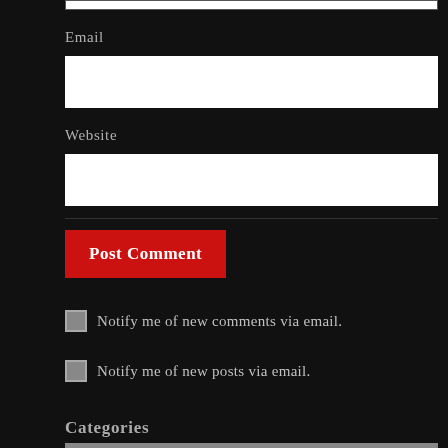Email
Website
Post Comment
Notify me of new comments via email.
Notify me of new posts via email.
Categories